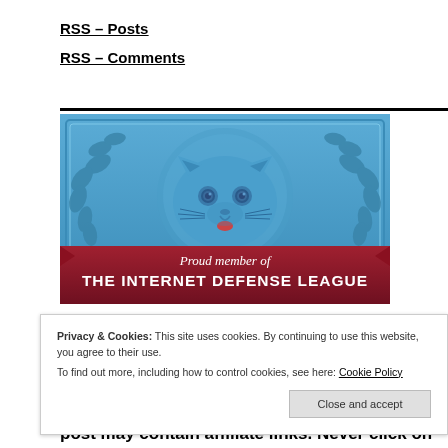RSS – Posts
RSS – Comments
[Figure (illustration): Internet Defense League badge: blue emblem with cartoon cat face surrounded by maple leaf wreath, red ribbon banner reading 'Proud member of THE INTERNET DEFENSE LEAGUE']
Privacy & Cookies: This site uses cookies. By continuing to use this website, you agree to their use. To find out more, including how to control cookies, see here: Cookie Policy
post may contain affiliate links. Never click on